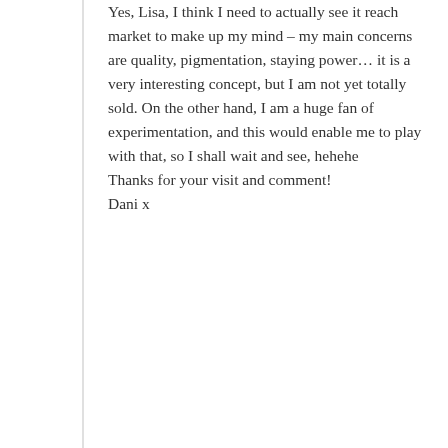Yes, Lisa, I think I need to actually see it reach market to make up my mind – my main concerns are quality, pigmentation, staying power… it is a very interesting concept, but I am not yet totally sold. On the other hand, I am a huge fan of experimentation, and this would enable me to play with that, so I shall wait and see, hehehe
Thanks for your visit and comment!
Dani x
★ Like
Reply
Privacy & Cookies: This site uses cookies. By continuing to use this website, you agree to their use.
To find out more, including how to control cookies, see here: Cookie Policy
Close and accept
this works but, to know that it's possible is out of this world